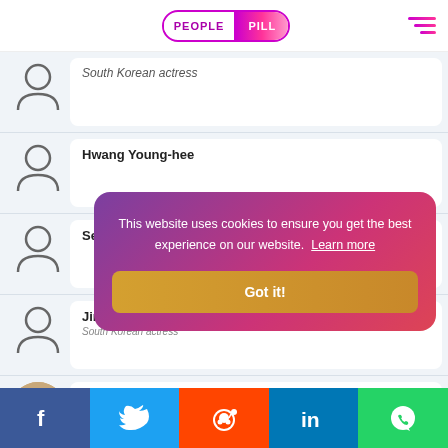PEOPLE PILL
South Korean actress
Hwang Young-hee
Señorita Lee
Jin Hee-kyung — South Korean actress
Kim Hee-a — South Korean ...
Kyeon Mi-... — South Korean ...
This website uses cookies to ensure you get the best experience on our website. Learn more
Got it!